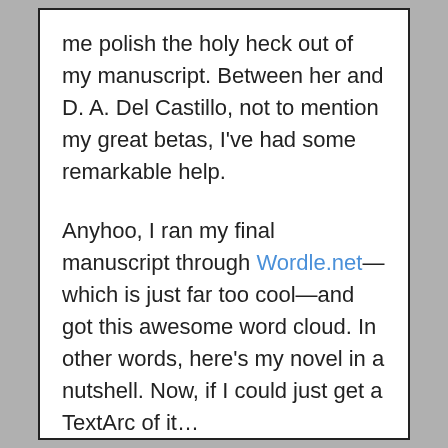me polish the holy heck out of my manuscript. Between her and D. A. Del Castillo, not to mention my great betas, I've had some remarkable help.
Anyhoo, I ran my final manuscript through Wordle.net—which is just far too cool—and got this awesome word cloud. In other words, here's my novel in a nutshell. Now, if I could just get a TextArc of it…